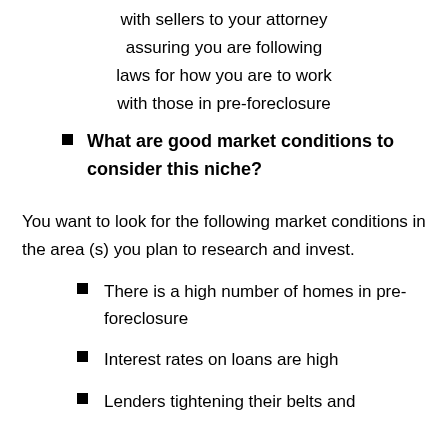with sellers to your attorney assuring you are following laws for how you are to work with those in pre-foreclosure
What are good market conditions to consider this niche?
You want to look for the following market conditions in the area (s) you plan to research and invest.
There is a high number of homes in pre-foreclosure
Interest rates on loans are high
Lenders tightening their belts and